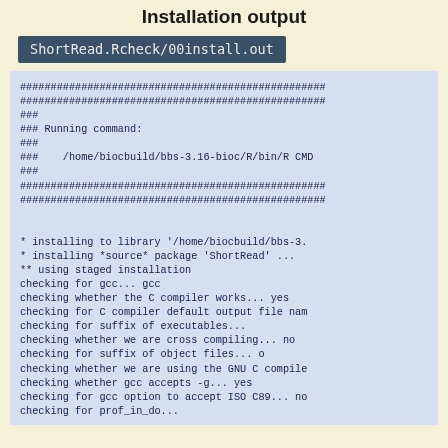Installation output
ShortRead.Rcheck/00install.out
##################################################
##################################################
###
### Running command:
###
###    /home/biocbuild/bbs-3.16-bioc/R/bin/R CMD
###
##################################################
##################################################


* installing to library '/home/biocbuild/bbs-3.
* installing *source* package 'ShortRead' ...
** using staged installation
checking for gcc... gcc
checking whether the C compiler works... yes
checking for C compiler default output file nam
checking for suffix of executables...
checking whether we are cross compiling... no
checking for suffix of object files... o
checking whether we are using the GNU C compile
checking whether gcc accepts -g... yes
checking for gcc option to accept ISO C89... no
checking for prof_in_do...